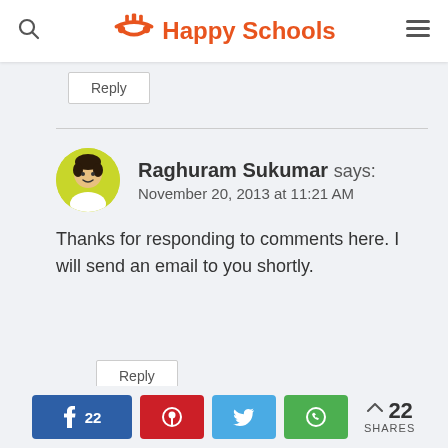Happy Schools
Reply
Raghuram Sukumar says:
November 20, 2013 at 11:21 AM
Thanks for responding to comments here. I will send an email to you shortly.
Reply